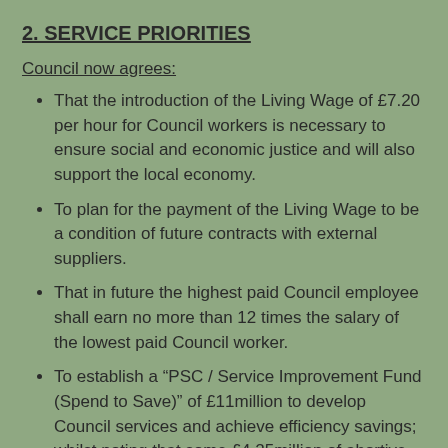2. SERVICE PRIORITIES
Council now agrees:
That the introduction of the Living Wage of £7.20 per hour for Council workers is necessary to ensure social and economic justice and will also support the local economy.
To plan for the payment of the Living Wage to be a condition of future contracts with external suppliers.
That in future the highest paid Council employee shall earn no more than 12 times the salary of the lowest paid Council worker.
To establish a “PSC / Service Improvement Fund (Spend to Save)” of £11million to develop Council services and achieve efficiency savings; whilst noting that some £4.25million of abortive expenditure, plus extensive internal costs, has